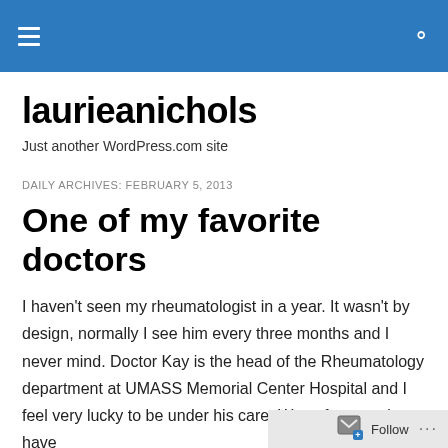laurieanichols – Just another WordPress.com site
laurieanichols
Just another WordPress.com site
DAILY ARCHIVES: FEBRUARY 5, 2013
One of my favorite doctors
I haven't seen my rheumatologist in a year. It wasn't by design, normally I see him every three months and I never mind. Doctor Kay is the head of the Rheumatology department at UMASS Memorial Center Hospital and I feel very lucky to be under his care. We unfortunately have